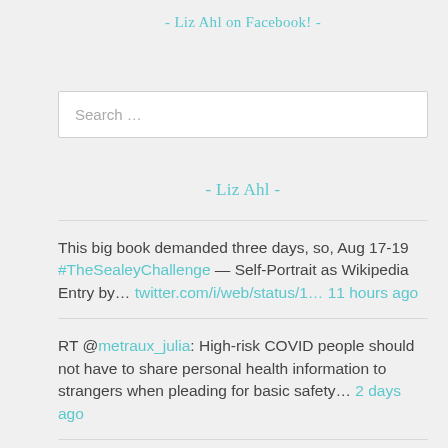- Liz Ahl on Facebook! -
Search …
- Liz Ahl -
This big book demanded three days, so, Aug 17-19 #TheSealeyChallenge — Self-Portrait as Wikipedia Entry by… twitter.com/i/web/status/1… 11 hours ago
RT @metraux_julia: High-risk COVID people should not have to share personal health information to strangers when pleading for basic safety… 2 days ago